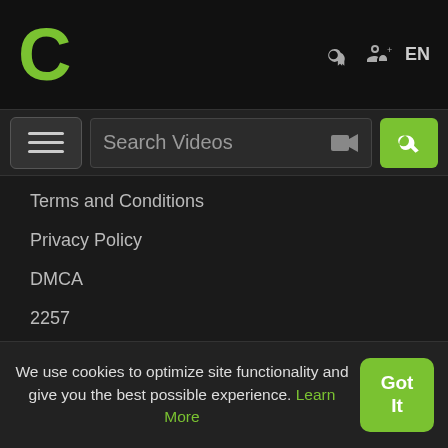[Figure (logo): Green C logo for Crunchyroll/similar video site]
EN
[Figure (screenshot): Search bar with hamburger menu, Search Videos placeholder, video camera icon, and green search button]
Terms and Conditions
Privacy Policy
DMCA
2257
Work With Us
Advertise
Webmasters
Invite Friends
Support and Help
We use cookies to optimize site functionality and give you the best possible experience. Learn More
Got It